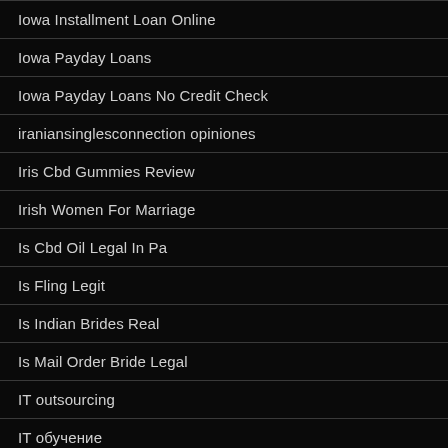Iowa Installment Loan Online
Iowa Payday Loans
Iowa Payday Loans No Credit Check
iraniansinglesconnection opiniones
Iris Cbd Gummies Review
Irish Women For Marriage
Is Cbd Oil Legal In Pa
Is Fling Legit
Is Indian Brides Real
Is Mail Order Bride Legal
IT outsourcing
IT обучение
Italian Bride